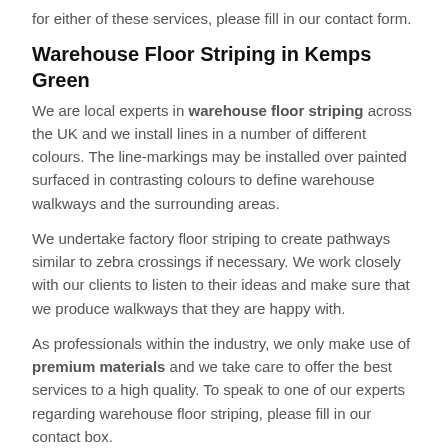for either of these services, please fill in our contact form.
Warehouse Floor Striping in Kemps Green
We are local experts in warehouse floor striping across the UK and we install lines in a number of different colours. The line-markings may be installed over painted surfaced in contrasting colours to define warehouse walkways and the surrounding areas.
We undertake factory floor striping to create pathways similar to zebra crossings if necessary. We work closely with our clients to listen to their ideas and make sure that we produce walkways that they are happy with.
As professionals within the industry, we only make use of premium materials and we take care to offer the best services to a high quality. To speak to one of our experts regarding warehouse floor striping, please fill in our contact box.
Other Warehouse Markings We Offer
Warehouse Floor Paint in Kemps Green
 - https://www.markingcontractors.co.uk/warehouse/floor-